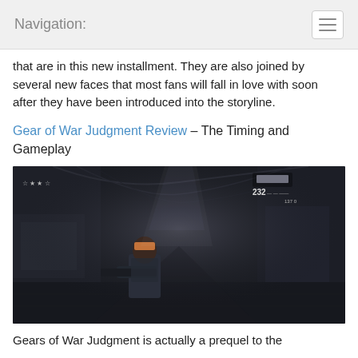Navigation:
that are in this new installment. They are also joined by several new faces that most fans will fall in love with soon after they have been introduced into the storyline.
Gear of War Judgment Review – The Timing and Gameplay
[Figure (screenshot): Gears of War Judgment gameplay screenshot showing a soldier character in a dark industrial corridor with HUD elements including stars/score in top-left and weapon/ammo info in top-right.]
Gears of War Judgment is actually a prequel to the